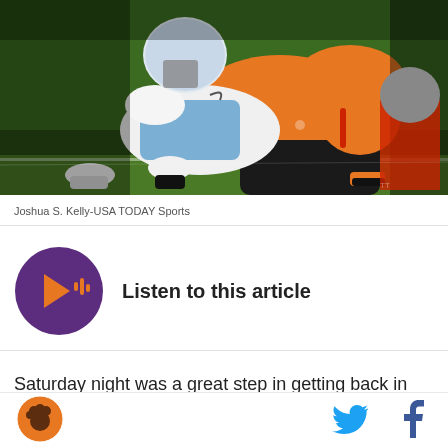[Figure (photo): Football players on the ground during a tackle. One player in white/blue uniform (UNC) and player in orange uniform (Clemson) in a pile on green turf at night.]
Joshua S. Kelly-USA TODAY Sports
[Figure (other): Listen to this article audio player button — purple circle with play icon and audio waveform bars]
Saturday night was a great step in getting back in the right direction for this team. There were some
[Figure (logo): Clemson Tigers logo in orange circle]
[Figure (other): Twitter bird icon in blue]
[Figure (other): Facebook f icon in blue]